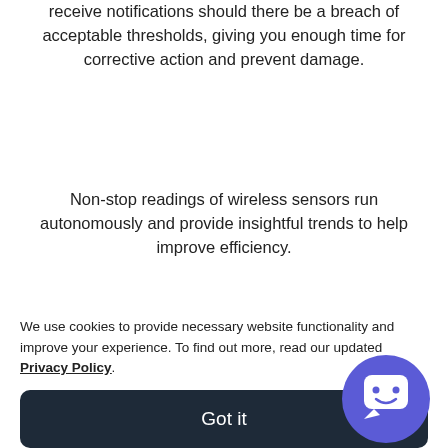receive notifications should there be a breach of acceptable thresholds, giving you enough time for corrective action and prevent damage.
Non-stop readings of wireless sensors run autonomously and provide insightful trends to help improve efficiency.
iAuditor Sensors are trusted all over the world and add value to operations involved in manufacturing, storage, food production, pharmaceuticals, medicine, and many more. With iAuditor Sensors, you'll a[lways be...
We use cookies to provide necessary website functionality and improve your experience. To find out more, read our updated Privacy Policy.
Got it